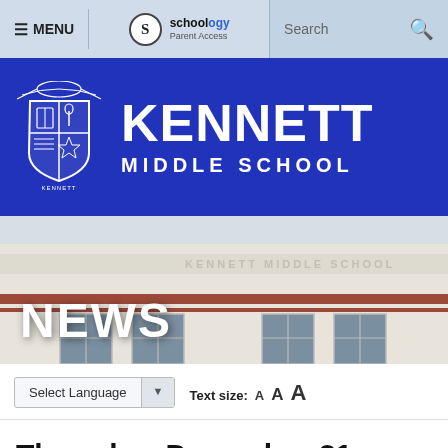≡ MENU | Schoology Parent Access | Search
[Figure (logo): Kennett Middle School banner with crest logo, blue background, white text KENNETT MIDDLE SCHOOL]
[Figure (photo): Exterior photo of Kennett Middle School building with NEWS text overlay]
Select Language ▼   Text size: A A A
Thursday, December 21, 2017
Day 6